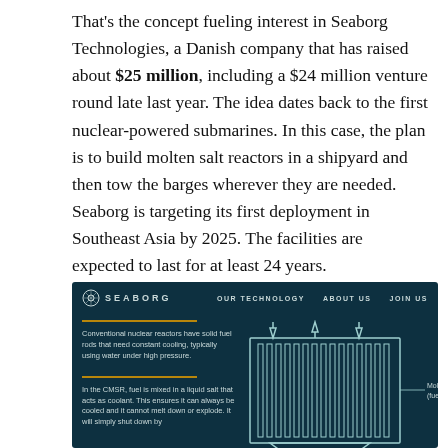That's the concept fueling interest in Seaborg Technologies, a Danish company that has raised about $25 million, including a $24 million venture round late last year. The idea dates back to the first nuclear-powered submarines. In this case, the plan is to build molten salt reactors in a shipyard and then tow the barges wherever they are needed. Seaborg is targeting its first deployment in Southeast Asia by 2025. The facilities are expected to last for at least 24 years.
[Figure (engineering-diagram): Seaborg Technologies website screenshot showing a dark teal-colored infographic. Navigation bar at top with Seaborg logo, 'Our Technology', 'About Us', 'Join Us' links. Left panel has two sections with gold horizontal lines: first describes conventional nuclear reactors with solid fuel rods needing constant cooling using water under high pressure. Second describes CMSR where fuel is mixed in liquid salt acting as coolant, ensuring it can always be cooled and cannot melt down or explode, will simply shut down by. Right side shows a diagram of a reactor with vertical fuel rods, arrows indicating flow (up and down), label 'Molten salt (fuel + coolant)' and 'Freeze plug' at the bottom.]